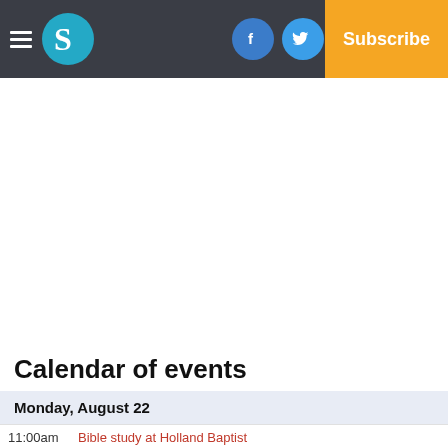Navigation bar with hamburger menu, S logo, Facebook, Twitter, Email icons, Log In, Subscribe
[Figure (other): Advertisement/whitespace area below navigation bar]
Calendar of events
Monday, August 22
11:00am   Bible study at Holland Baptist